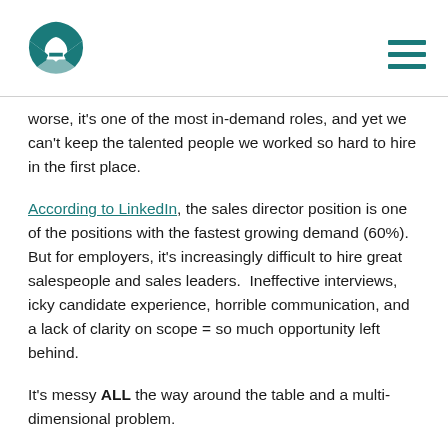[Logo] [Hamburger menu]
worse, it's one of the most in-demand roles, and yet we can't keep the talented people we worked so hard to hire in the first place.
According to LinkedIn, the sales director position is one of the positions with the fastest growing demand (60%).  But for employers, it's increasingly difficult to hire great salespeople and sales leaders.  Ineffective interviews, icky candidate experience, horrible communication, and a lack of clarity on scope = so much opportunity left behind.
It's messy ALL the way around the table and a multi-dimensional problem.